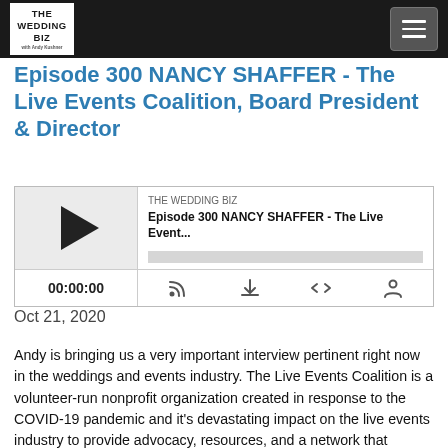THE WEDDING BIZ (navigation bar with logo and menu)
Episode 300 NANCY SHAFFER - The Live Events Coalition, Board President & Director
[Figure (screenshot): Podcast player widget showing THE WEDDING BIZ podcast, Episode 300 NANCY SHAFFER - The Live Event..., with play button, progress bar, time 00:00:00, and control icons for RSS, download, embed, and share]
Oct 21, 2020
Andy is bringing us a very important interview pertinent right now in the weddings and events industry. The Live Events Coalition is a volunteer-run nonprofit organization created in response to the COVID-19 pandemic and it’s devastating impact on the live events industry to provide advocacy, resources, and a network that connects and supports businesses, contractors, and the general event industry workforce. It established a national Facebook group that wants to connect, share stories, opportunities, or just support